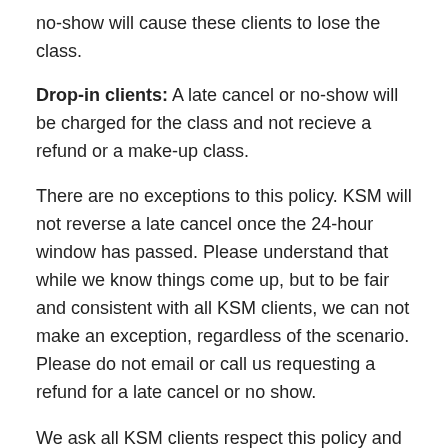no-show will cause these clients to lose the class.
Drop-in clients: A late cancel or no-show will be charged for the class and not recieve a refund or a make-up class.
There are no exceptions to this policy. KSM will not reverse a late cancel once the 24-hour window has passed. Please understand that while we know things come up, but to be fair and consistent with all KSM clients, we can not make an exception, regardless of the scenario. Please do not email or call us requesting a refund for a late cancel or no show.
We ask all KSM clients respect this policy and encourage our clients to be responsible for their schedule so that class spots can be utilized by those who fully intend on attending.
TIPS TO AVOID LATE FEES: